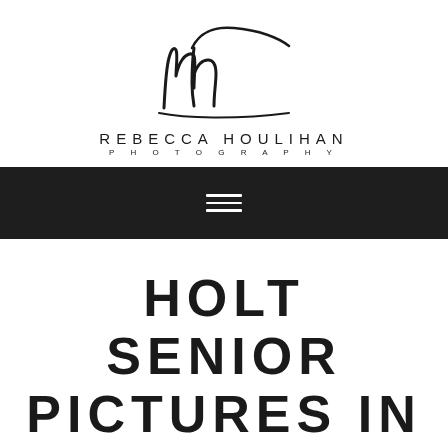[Figure (logo): Rebecca Houlihan Photography logo with handwritten 'rh' script above the text]
[Figure (other): Dark navigation bar with hamburger menu icon (three horizontal white lines)]
HOLT SENIOR PICTURES IN FOUR SEASONS